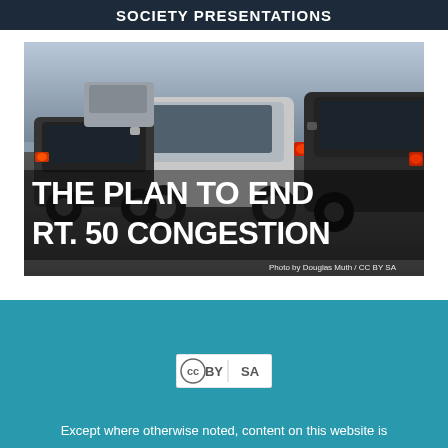SOCIETY PRESENTATIONS
[Figure (photo): Traffic jam with multiple cars from a low angle, overlaid with white bold text reading 'THE PLAN TO END RT. 50 CONGESTION' and a photo credit 'Photo by Douglas Muth / CC BY SA']
[Figure (logo): Creative Commons BY-SA license badge]
Except where otherwise noted, content on this website is